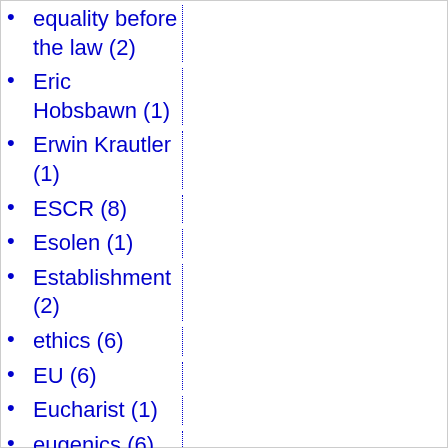equality before the law (2)
Eric Hobsbawn (1)
Erwin Krautler (1)
ESCR (8)
Esolen (1)
Establishment (2)
ethics (6)
EU (6)
Eucharist (1)
eugenics (6)
Euchi...